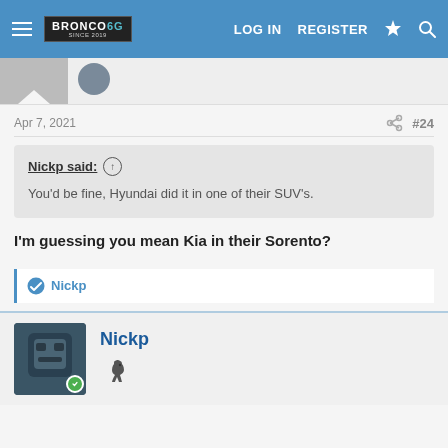Bronco6G.com | LOG IN | REGISTER
Apr 7, 2021  #24
Nickp said: You'd be fine, Hyundai did it in one of their SUV's.
I'm guessing you mean Kia in their Sorento?
Nickp
Nickp